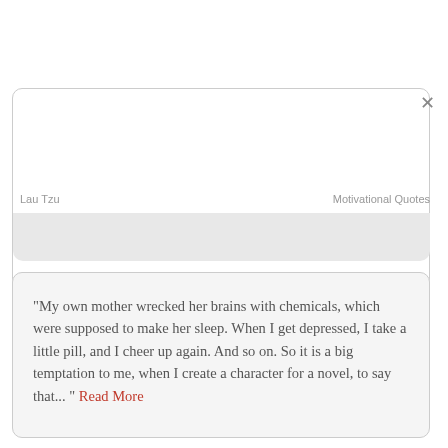Lau Tzu                    Motivational Quotes
"My own mother wrecked her brains with chemicals, which were supposed to make her sleep. When I get depressed, I take a little pill, and I cheer up again. And so on. So it is a big temptation to me, when I create a character for a novel, to say that... "  Read More